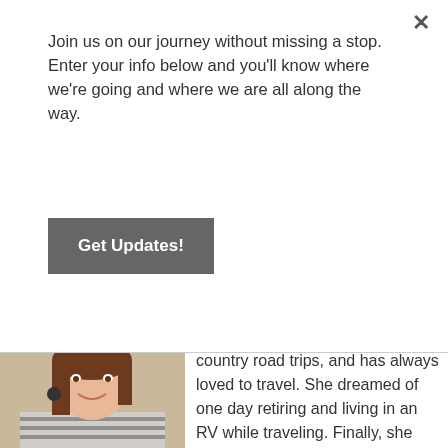Join us on our journey without missing a stop. Enter your info below and you'll know where we're going and where we are all along the way.
Get Updates!
[Figure (photo): Headshot of a woman with brown hair, wearing a striped top and dark earrings, smiling at the camera]
country road trips, and has always loved to travel. She dreamed of one day retiring and living in an RV while traveling. Finally, she realized that you can't wait to live the life you want, and there was no reason to wait. As a freelance writer and marketer she realized as long as she had internet she could live anywhere! So, she did.